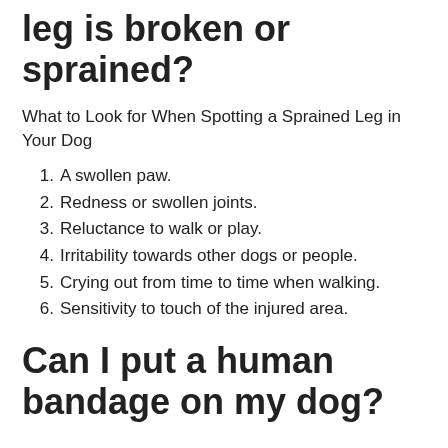leg is broken or sprained?
What to Look for When Spotting a Sprained Leg in Your Dog
A swollen paw.
Redness or swollen joints.
Reluctance to walk or play.
Irritability towards other dogs or people.
Crying out from time to time when walking.
Sensitivity to touch of the injured area.
Can I put a human bandage on my dog?